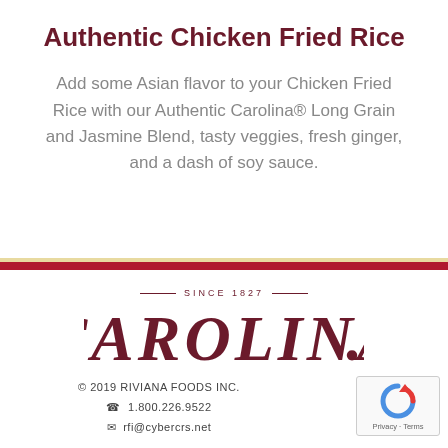Authentic Chicken Fried Rice
Add some Asian flavor to your Chicken Fried Rice with our Authentic Carolina® Long Grain and Jasmine Blend, tasty veggies, fresh ginger, and a dash of soy sauce.
[Figure (logo): Carolina brand logo with 'SINCE 1927' above in small caps with decorative lines, and 'CAROLINA.' in large bold serif italic text in dark red/maroon color]
© 2019 RIVIANA FOODS INC.
☎ 1.800.226.9522
✉ rfi@cybercrs.net